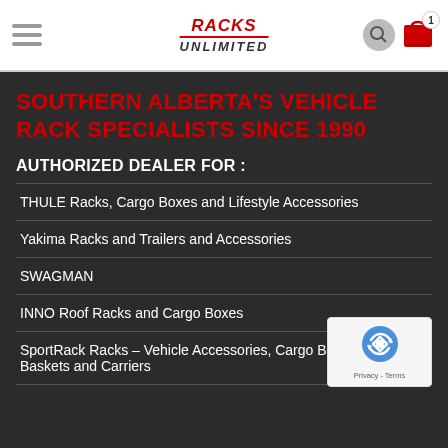Racks Unlimited – Navigation header with hamburger menu and cart icon
SOUTHERN ALBERTA'S VEHICLE RACK SPECIALISTS SINCE 1990
AUTHORIZED DEALER FOR :
THULE Racks, Cargo Boxes and Lifestyle Accessories
Yakima Racks and Trailers and Accessories
SWAGMAN
INNO Roof Racks and Cargo Boxes
SportRack Racks – Vehicle Accessories, Cargo Boxes, Roof Baskets and Carriers